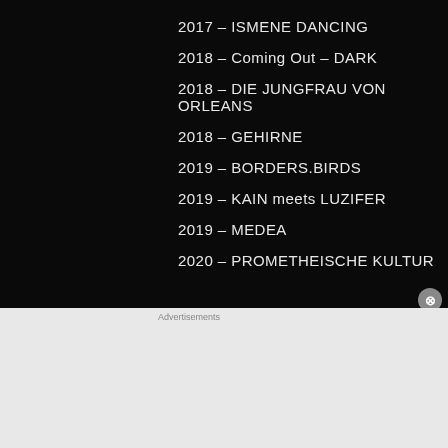2017 – ISMENE DANCING
2018 – Coming Out – DARK
2018 – DIE JUNGFRAU VON ORLEANS
2018 – GEHIRNE
2019 – BORDERS.BIRDS
2019 – KAIN meets LUZIFER
2019 – MEDEA
2020 – PROMETHEISCHE KULTUR
[Figure (screenshot): DuckDuckGo advertisement banner: orange background with text 'Search, browse, and email with more privacy. All in One Free App' and a phone showing DuckDuckGo logo]
Advertisements